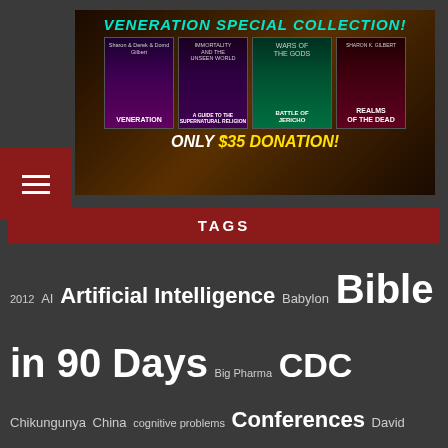[Figure (illustration): Veneration Special Collection banner showing 4 book covers: Veneration, Immortality and the Unseen World, Wars of the Gods/Battle of Jericho, and Realms of the Dead. Text reads 'VENERATION SPECIAL COLLECTION!' and 'ONLY $35 DONATION!']
TAGS
2012 AI Artificial Intelligence Babylon Bible in 90 Days Big Pharma CDC Chikungunya China cognitive problems Conferences David Flynn Earthquakes Ebola End Times Eugenics Future Congress Georgia Interviews Iran Israel Medvedev New World Order nurses Olympics Preparedness Prophecy Putin Revelation Reviews robotics Russia SciFriday Sierra Leone SkyWatchTV South Ossetia Spain Stem